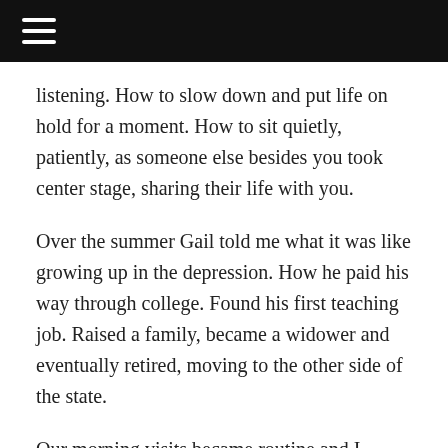listening. How to slow down and put life on hold for a moment. How to sit quietly, patiently, as someone else besides you took center stage, sharing their life with you.
Over the summer Gail told me what it was like growing up in the depression. How he paid his way through college. Found his first teaching job. Raised a family, became a widower and eventually retired, moving to the other side of the state.
Our morning visits became routine and I looked forward to them. Sitting in the early morning sun with my coffee and waiting for Gail to walk by. My contribution to the conversations would be minimal. A nod here, a question there. This was Gail's time and I learned that...